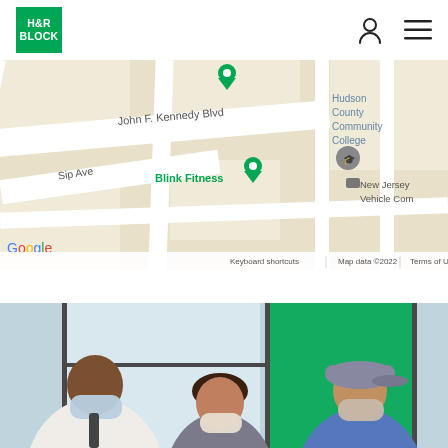[Figure (logo): H&R Block logo - green square with white H&R BLOCK text]
[Figure (map): Google Maps screenshot showing location near John F. Kennedy Blvd and Sip Ave with Blink Fitness marker, Hudson County Community College, New Jersey Vehicle Commission. Map data ©2022.]
[Figure (photo): Photo of an H&R Block tax professional in white coat and mask speaking with two masked clients (woman with dark hair and older man wearing a cap) inside an H&R Block office with green signage visible.]